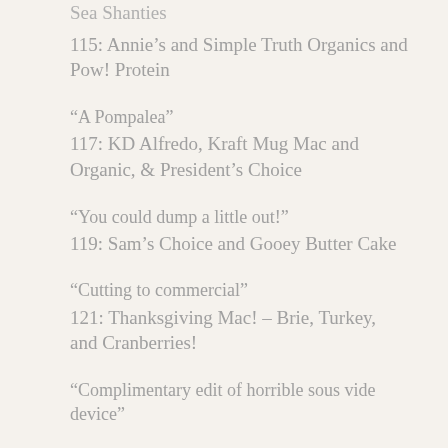115: Annie's and Simple Truth Organics and Pow! Protein
“A Pompalea”
117: KD Alfredo, Kraft Mug Mac and Organic, & President’s Choice
“You could dump a little out!”
119: Sam’s Choice and Gooey Butter Cake
“Cutting to commercial”
121: Thanksgiving Mac! – Brie, Turkey, and Cranberries!
“Complimentary edit of horrible sous vide device”